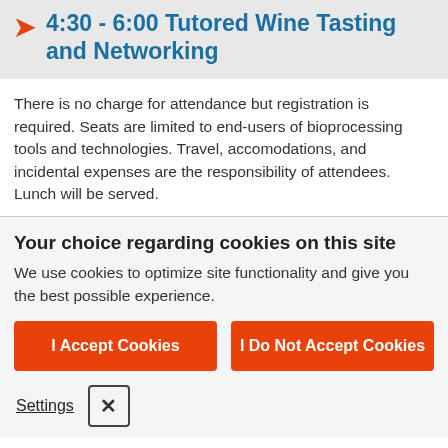4:30 - 6:00 Tutored Wine Tasting and Networking
There is no charge for attendance but registration is required. Seats are limited to end-users of bioprocessing tools and technologies. Travel, accomodations, and incidental expenses are the responsibility of attendees. Lunch will be served.
Your choice regarding cookies on this site
We use cookies to optimize site functionality and give you the best possible experience.
I Accept Cookies
I Do Not Accept Cookies
Settings